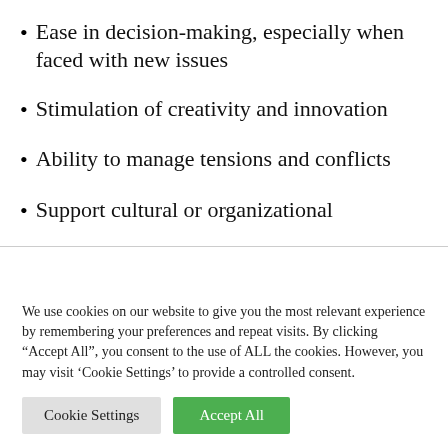Ease in decision-making, especially when faced with new issues
Stimulation of creativity and innovation
Ability to manage tensions and conflicts
Support cultural or organizational
We use cookies on our website to give you the most relevant experience by remembering your preferences and repeat visits. By clicking “Accept All”, you consent to the use of ALL the cookies. However, you may visit ‘Cookie Settings’ to provide a controlled consent.